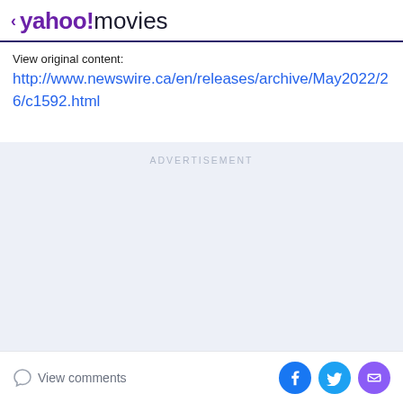yahoo!movies
View original content:
http://www.newswire.ca/en/releases/archive/May2022/26/c1592.html
[Figure (other): Advertisement placeholder area with light blue-grey background and ADVERTISEMENT label]
View comments